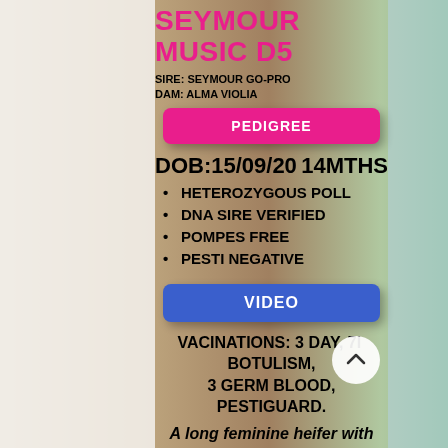SEYMOUR MUSIC D5
SIRE: SEYMOUR GO-PRO
DAM: ALMA VIOLIA
PEDIGREE
DOB:15/09/20   14MTHS
HETEROZYGOUS POLL
DNA SIRE VERIFIED
POMPES FREE
PESTI NEGATIVE
VIDEO
VACINATIONS: 3 DAY, 7IN1, BOTULISM, 3 GERM BLOOD, PESTIGUARD.
A long feminine heifer with